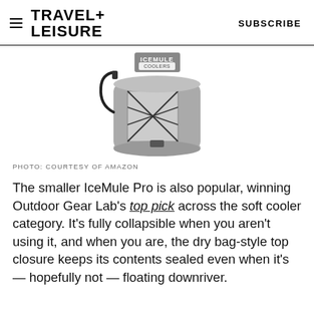TRAVEL+ LEISURE   SUBSCRIBE
[Figure (photo): IceMule Cooler backpack-style soft cooler, gray, with bungee cord front panel and strap, shown on white background]
PHOTO: COURTESY OF AMAZON
The smaller IceMule Pro is also popular, winning Outdoor Gear Lab's top pick across the soft cooler category. It's fully collapsible when you aren't using it, and when you are, the dry bag-style top closure keeps its contents sealed even when it's — hopefully not — floating downriver.